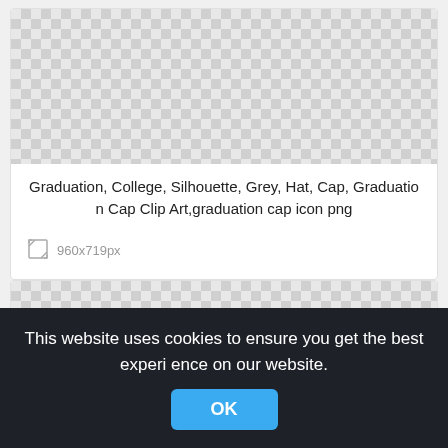[Figure (other): Checkered transparent background preview area for graduation cap image]
Graduation, College, Silhouette, Grey, Hat, Cap, Graduation Cap Clip Art,graduation cap icon png
960x719px
[Figure (other): Checkered transparent background preview area for second image]
This website uses cookies to ensure you get the best experience on our website.